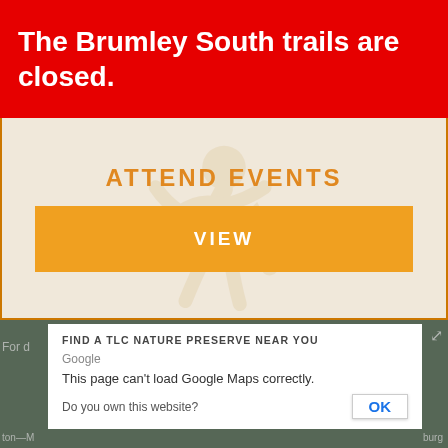The Brumley South trails are closed.
ATTEND EVENTS
VIEW
FIND A TLC NATURE PRESERVE NEAR YOU
Google
This page can't load Google Maps correctly.
Do you own this website?
OK